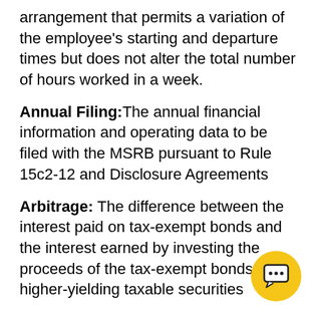arrangement that permits a variation of the employee's starting and departure times but does not alter the total number of hours worked in a week.
Annual Filing: The annual financial information and operating data to be filed with the MSRB pursuant to Rule 15c2-12 and Disclosure Agreements
Arbitrage: The difference between the interest paid on tax-exempt bonds and the interest earned by investing the proceeds of the tax-exempt bonds in higher-yielding taxable securities
Audit a Course: The ability to take a course without the benefit of receiving a grade or credit for the course.
Banking Day: A day on which banks are open to the public for carrying on substantially all banking functions, generally excluding Saturday, Sunday, and